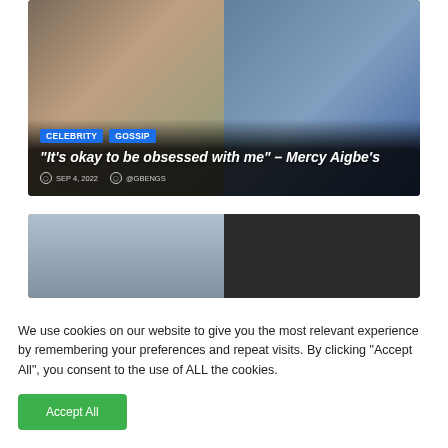[Figure (photo): Article card showing two women — one on the left in green pants with a pink headband, one on the right in a pink bikini with sunglasses near water. Overlay shows category tags CELEBRITY and GOSSIP, headline text, and metadata.]
“It’s okay to be obsessed with me” – Mercy Aigbe’s
SEP 4, 2022  @GBENGS
[Figure (photo): Second article card showing a split image: left side appears to be a road/highway scene, right side is a dark low-light photo.]
We use cookies on our website to give you the most relevant experience by remembering your preferences and repeat visits. By clicking “Accept All”, you consent to the use of ALL the cookies.
Accept All